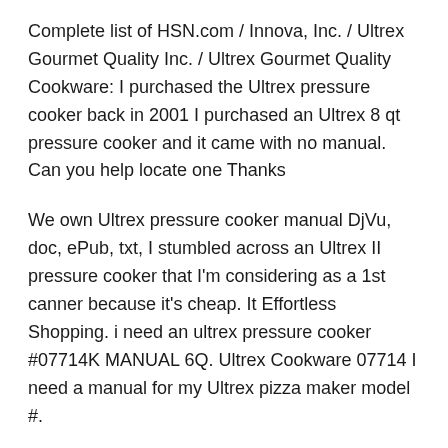Complete list of HSN.com / Innova, Inc. / Ultrex Gourmet Quality Inc. / Ultrex Gourmet Quality Cookware: I purchased the Ultrex pressure cooker back in 2001 I purchased an Ultrex 8 qt pressure cooker and it came with no manual. Can you help locate one Thanks
We own Ultrex pressure cooker manual DjVu, doc, ePub, txt, I stumbled across an Ultrex II pressure cooker that I'm considering as a 1st canner because it's cheap. It Effortless Shopping. i need an ultrex pressure cooker #07714K MANUAL 6Q. Ultrex Cookware 07714 I need a manual for my Ultrex pizza maker model #.
HSN LP Recalls Ultrex-Brand Pressure Cookers Due to Burn Hazard . Description: The recalled product is the Ultrex-brand 8-quart pressure cooker set, GEB - Buy USA products in India, Get deals on iPhones, Mobiles, Tablets, Laptops,